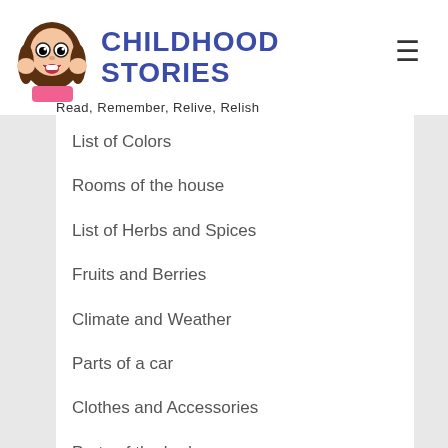CHILDHOOD STORIES — Read, Remember, Relive, Relish
List of Colors
Rooms of the house
List of Herbs and Spices
Fruits and Berries
Climate and Weather
Parts of a car
Clothes and Accessories
Parts of the body
Members of the family
Days of the week
List of all Animals